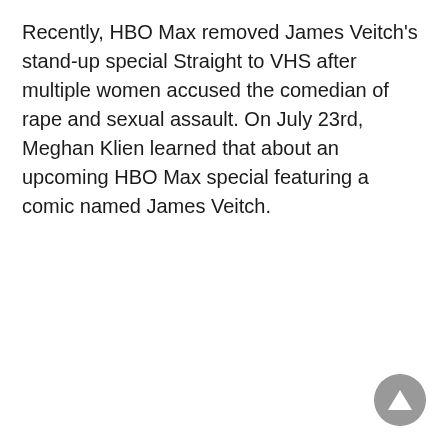Recently, HBO Max removed James Veitch's stand-up special Straight to VHS after multiple women accused the comedian of rape and sexual assault. On July 23rd, Meghan Klien learned that about an upcoming HBO Max special featuring a comic named James Veitch.
[Figure (other): A circular grey scroll-to-top button with an upward-pointing triangle arrow icon, located in the bottom-right corner of the page.]